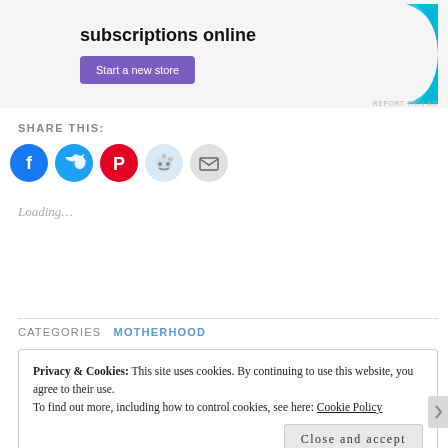[Figure (other): Advertisement banner with text 'subscriptions online', a purple 'Start a new store' button, and a cyan decorative graphic on the right.]
REPORT THIS AD
SHARE THIS:
[Figure (other): Row of social share icon buttons: Facebook (blue), Twitter (light blue), Pinterest (red), Reddit (light blue), Email (grey).]
Loading...
CATEGORIES  MOTHERHOOD
Privacy & Cookies: This site uses cookies. By continuing to use this website, you agree to their use.
To find out more, including how to control cookies, see here: Cookie Policy
Close and accept